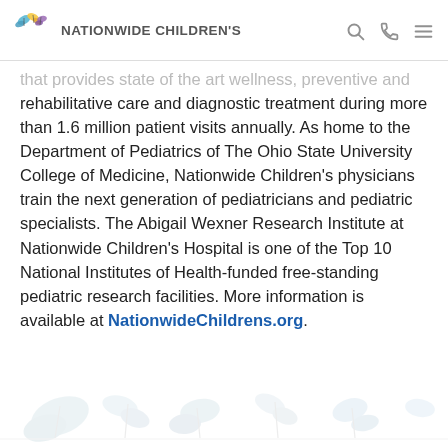Nationwide Children's
that provides state of the art wellness, preventive and rehabilitative care and diagnostic treatment during more than 1.6 million patient visits annually. As home to the Department of Pediatrics of The Ohio State University College of Medicine, Nationwide Children's physicians train the next generation of pediatricians and pediatric specialists. The Abigail Wexner Research Institute at Nationwide Children's Hospital is one of the Top 10 National Institutes of Health-funded free-standing pediatric research facilities. More information is available at NationwideChildrens.org.
[Figure (illustration): Faint watermark illustration of butterflies and nature scene at the bottom of the page]